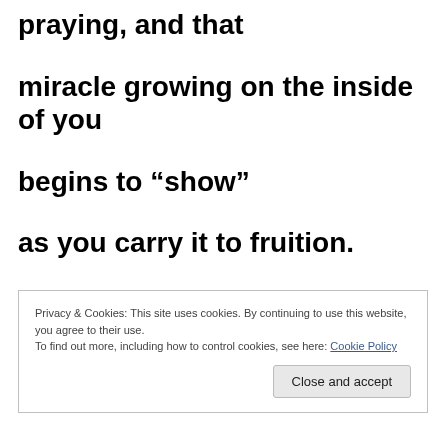praying, and that
miracle growing on the inside of you
begins to “show”
as you carry it to fruition.
Privacy & Cookies: This site uses cookies. By continuing to use this website, you agree to their use. To find out more, including how to control cookies, see here: Cookie Policy
Close and accept